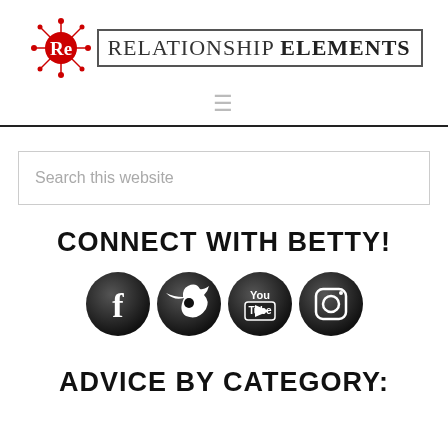[Figure (logo): Relationship Elements logo with red RE atom icon and text in bordered box]
[Figure (illustration): Hamburger menu icon (three horizontal lines)]
[Figure (illustration): Search this website input box]
CONNECT WITH BETTY!
[Figure (infographic): Four black circular social media icons: Facebook, Twitter, YouTube, Instagram]
ADVICE BY CATEGORY: